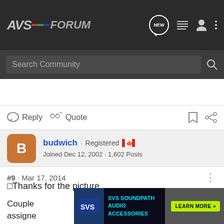AVSForum - Search Community
Reply   Quote
budwich · Registered 🇨🇦
Joined Dec 12, 2002 · 1,602 Posts
#9 · Mar 17, 2014
□Thanks for the picture.
Couple [ad overlay] kers are assigne
[Figure (screenshot): SVS Soundpath Audio Accessories advertisement banner]